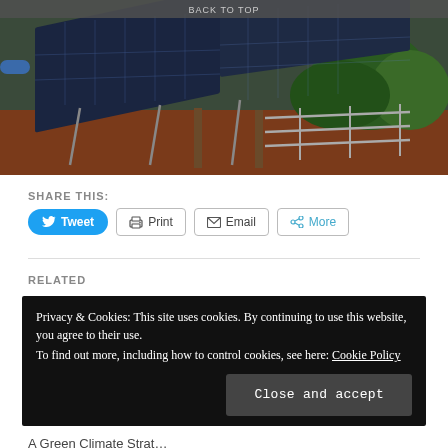[Figure (photo): Solar panels mounted on metal frames on a hillside with red soil and green vegetation in the background. A wooden post and metal railing fence are visible. 'BACK TO TOP' text appears at the top of the image area.]
SHARE THIS:
Tweet  Print  Email  More
RELATED
Privacy & Cookies: This site uses cookies. By continuing to use this website, you agree to their use.
To find out more, including how to control cookies, see here: Cookie Policy
Close and accept
A Green Climate Strat…